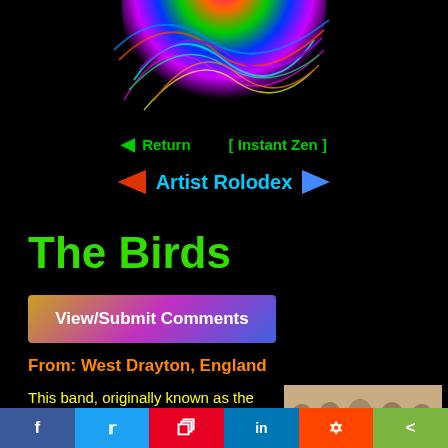[Figure (illustration): Colorful psychedelic globe/planet with multicolored swirling patterns against black background, cropped at top showing lower hemisphere]
Return   [ Instant Zen ]
Artist Rolodex
The Birds
View/Submit Comments
From: West Drayton, England
This band, originally known as the Thunderbirds, came from West Drayton, a town in the far west borough of
[Figure (photo): Black and white photo of five young men in 1960s style clothing, posed together as a band]
f  t  p  in  r  <